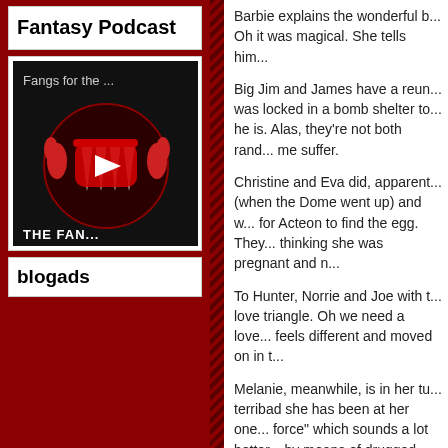Fantasy Podcast
[Figure (screenshot): YouTube video thumbnail for 'Fangs for the ...' podcast episode showing vampire fangs logo and red play button]
blogads
Barbie explains the wonderful b... Oh it was magical. She tells him...
Big Jim and James have a reun... was locked in a bomb shelter to... he is. Alas, they're not both rand... me suffer.
Christine and Eva did, apparent... (when the Dome went up) and w... for Acteon to find the egg. They... thinking she was pregnant and n...
To Hunter, Norrie and Joe with t... love triangle. Oh we need a love... feels different and moved on in t...
Melanie, meanwhile, is in her tu... terribad she has been at her one... force" which sounds a lot better... by means of drugged goo. They... clumsily died while the egg tried...